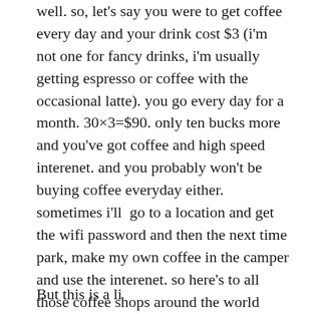well. so, let's say you were to get coffee every day and your drink cost $3 (i'm not one for fancy drinks, i'm usually getting espresso or coffee with the occasional latte). you go every day for a month. 30×3=$90. only ten bucks more and you've got coffee and high speed interenet. and you probably won't be buying coffee everyday either. sometimes i'll go to a location and get the wifi password and then the next time park, make my own coffee in the camper and use the interenet. so here's to all those coffee shops around the world provided caffeine for the masses along with a chill workplace and an awesome place to people watch and see the locals.
But this is a li...